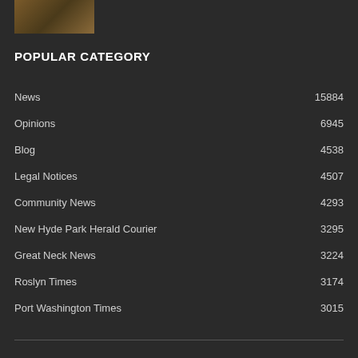[Figure (photo): Small thumbnail image in top-left corner]
POPULAR CATEGORY
News 15884
Opinions 6945
Blog 4538
Legal Notices 4507
Community News 4293
New Hyde Park Herald Courier 3295
Great Neck News 3224
Roslyn Times 3174
Port Washington Times 3015